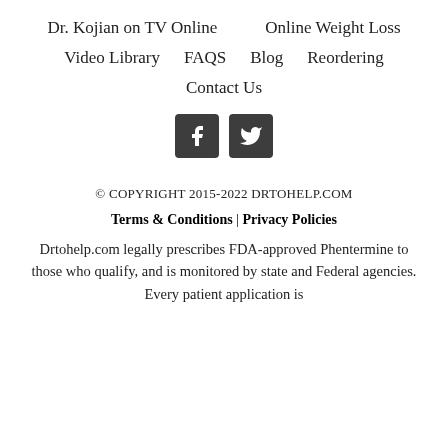Dr. Kojian on TV Online | Online Weight Loss | Video Library | FAQS | Blog | Reordering | Contact Us
[Figure (illustration): Facebook and Twitter social media icon buttons (dark gray rounded squares)]
© COPYRIGHT 2015-2022 DRTOHELP.COM
Terms & Conditions | Privacy Policies
Drtohelp.com legally prescribes FDA-approved Phentermine to those who qualify, and is monitored by state and Federal agencies. Every patient application is